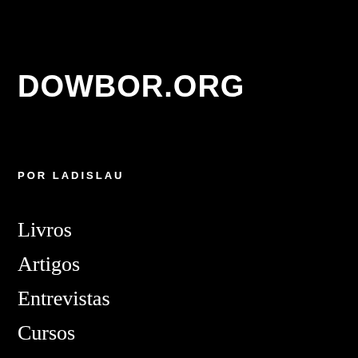DOWBOR.ORG
POR LADISLAU
Livros
Artigos
Entrevistas
Cursos
Pesquisa